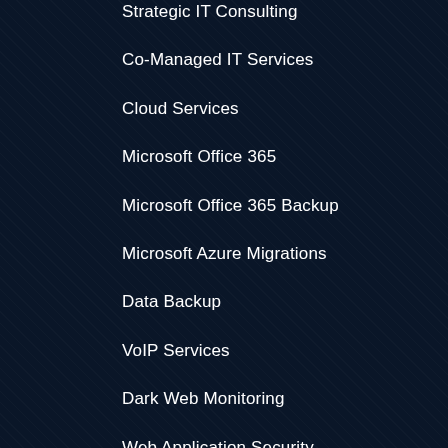Strategic IT Consulting
Co-Managed IT Services
Cloud Services
Microsoft Office 365
Microsoft Office 365 Backup
Microsoft Azure Migrations
Data Backup
VoIP Services
Dark Web Monitoring
Web Application Security
Cybersecurity Training
WHO ALLIANCE HELPS
Law Firms